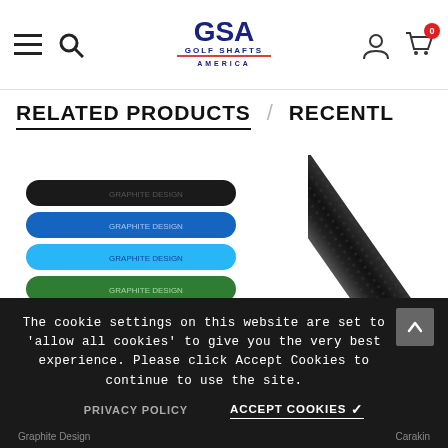GSA Golf Shafts America — navigation header with hamburger menu, search, logo, account and cart (0 items)
RELATED PRODUCTS / RECENTLY
[Figure (photo): Stack of colorful golf grips in black, blue, light blue, teal/green, orange, and yellow-green colors]
[Figure (photo): Black textured golf grip shown at an angle against white background]
The cookie settings on this website are set to 'allow all cookies' to give you the very best experience. Please click Accept Cookies to continue to use the site.
PRIVACY POLICY
ACCEPT COOKIES ✓
Graphite Design   |   Carakin